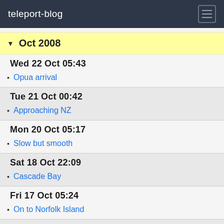teleport-blog
Oct 2008
Wed 22 Oct 05:43
Opua arrival
Tue 21 Oct 00:42
Approaching NZ
Mon 20 Oct 05:17
Slow but smooth
Sat 18 Oct 22:09
Cascade Bay
Fri 17 Oct 05:24
On to Norfolk Island
Thu 16 Oct 04:31
Noumea to NZ
Sep 2008